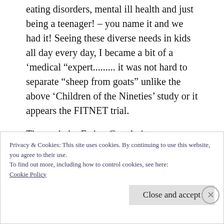eating disorders, mental ill health and just being a teenager! – you name it and we had it! Seeing these diverse needs in kids all day every day, I became a bit of a ‘medical “expert......... it was not hard to separate “sheep from goats” unlike the above ‘Children of the Nineties’ study or it appears the FITNET trial.
The study by Esther Crawly in a sledgehammer to crack a nut. Whilst I agree, is necessary, nay essential to provide support for children with
Privacy & Cookies: This site uses cookies. By continuing to use this website, you agree to their use.
To find out more, including how to control cookies, see here:
Cookie Policy